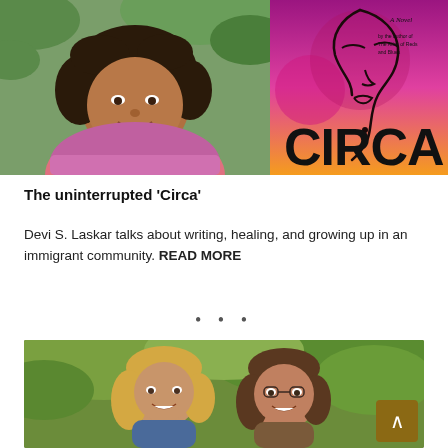[Figure (photo): Author photo (Devi S. Laskar, woman smiling outdoors) on the left and book cover of 'Circa' novel on the right — colorful cover with pink and orange gradient and line-art face illustration]
The uninterrupted ‘Circa’
Devi S. Laskar talks about writing, healing, and growing up in an immigrant community. READ MORE
• • •
[Figure (photo): Two women smiling together outdoors in front of green foliage]